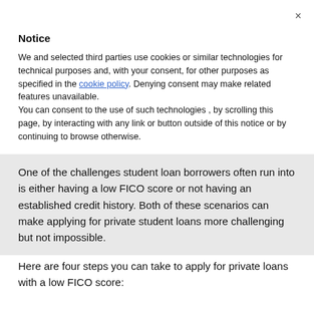×
Notice
We and selected third parties use cookies or similar technologies for technical purposes and, with your consent, for other purposes as specified in the cookie policy. Denying consent may make related features unavailable.
You can consent to the use of such technologies , by scrolling this page, by interacting with any link or button outside of this notice or by continuing to browse otherwise.
One of the challenges student loan borrowers often run into is either having a low FICO score or not having an established credit history. Both of these scenarios can make applying for private student loans more challenging but not impossible.
Here are four steps you can take to apply for private loans with a low FICO score: